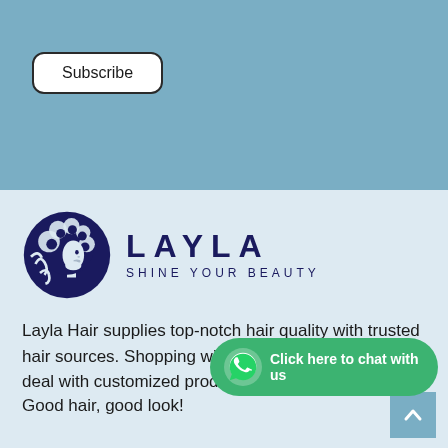Subscribe
[Figure (logo): Layla Hair logo — circular dark navy silhouette of a woman with curly hair, beside text LAYLA SHINE YOUR BEAUTY]
Layla Hair supplies top-notch hair quality with trusted hair sources. Shopping with us, you will get the best deal with customized products.
[Figure (infographic): WhatsApp chat button: green rounded rectangle with WhatsApp icon and text 'Click here to chat with us']
Good hair, good look!